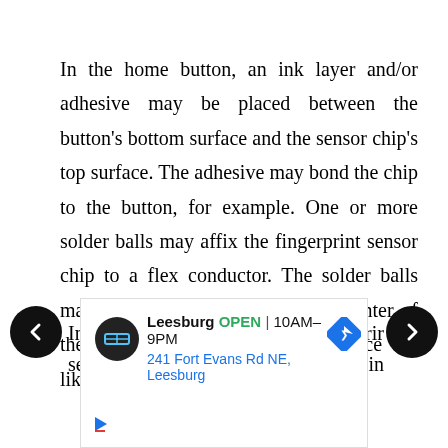In the home button, an ink layer and/or adhesive may be placed between the button's bottom surface and the sensor chip's top surface. The adhesive may bond the chip to the button, for example. One or more solder balls may affix the fingerprint sensor chip to a flex conductor. The solder balls may generally be placed near the center of the fingerprint sensor chip to reduce the likelihood of cracking due to stress.
[Figure (other): Advertisement banner showing Leesburg store location with logo, open status, hours (10AM-9PM), and address (241 Fort Evans Rd NE, Leesburg). Navigation arrows on left and right sides.]